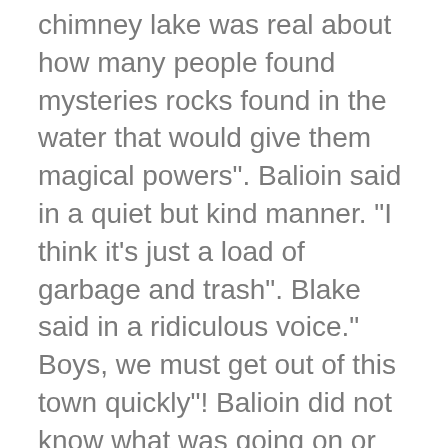chimney lake was real about how many people found mysteries rocks found in the water that would give them magical powers". Balioin said in a quiet but kind manner. “I think it’s just a load of garbage and trash". Blake said in a ridiculous voice.” Boys, we must get out of this town quickly”! Balioin did not know what was going on or why they had to leave the house, but he knew this village his whole life, and now they had to leave. Balioin was always a cheerful kid and when Blake was always worried or sad about something or someone, Balioin would always come over to help Blake with whatever was bothering him.